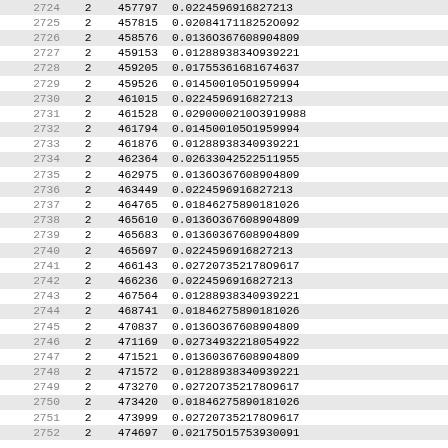| 2724 | 2 | 457797 | 0.0224596916827213 |
| 2725 | 2 | 457815 | 0.0208417118252O092 |
| 2726 | 2 | 458576 | 0.0136O367608904809 |
| 2727 | 2 | 459153 | 0.0128893834O939221 |
| 2728 | 2 | 459205 | 0.01755361681674637 |
| 2729 | 2 | 459526 | 0.0145001O5O1959994 |
| 2730 | 2 | 461015 | 0.0224596916827213 |
| 2731 | 2 | 461528 | 0.029000210O3919988 |
| 2732 | 2 | 461794 | 0.014500105O1959994 |
| 2733 | 2 | 461876 | 0.01288938340939221 |
| 2734 | 2 | 462364 | 0.026330425225119​55 |
| 2735 | 2 | 462975 | 0.0136O367608904809 |
| 2736 | 2 | 463449 | 0.0224596916827213 |
| 2737 | 2 | 464765 | 0.01846275890181026 |
| 2738 | 2 | 465610 | 0.0136O367608904809 |
| 2739 | 2 | 465683 | 0.01360367608904809 |
| 2740 | 2 | 465697 | 0.0224596916827213 |
| 2741 | 2 | 466143 | 0.027207352178O9617 |
| 2742 | 2 | 466236 | 0.0224596916827213 |
| 2743 | 2 | 467564 | 0.01288938340939221 |
| 2744 | 2 | 468741 | 0.01846275890181026 |
| 2745 | 2 | 470837 | 0.0136O367608904809 |
| 2746 | 2 | 471169 | 0.02734932218054922 |
| 2747 | 2 | 471521 | 0.01360367608904809 |
| 2748 | 2 | 471572 | 0.01288938340939221 |
| 2749 | 2 | 473270 | 0.027207352178O9617 |
| 2750 | 2 | 473420 | 0.01846275890181026 |
| 2751 | 2 | 473999 | 0.0272O7352178O9617 |
| 2752 | 2 | 474697 | 0.0217501575393009​1 |